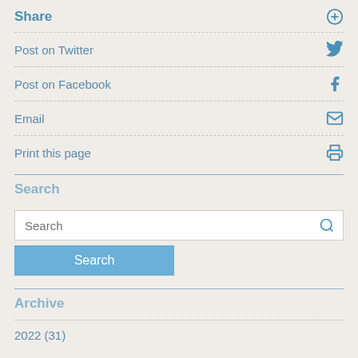Share
Post on Twitter
Post on Facebook
Email
Print this page
Search
Search
Archive
2022 (31)